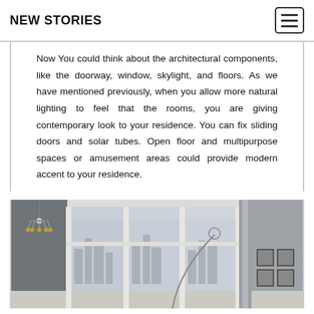NEW STORIES
Now You could think about the architectural components, like the doorway, window, skylight, and floors. As we have mentioned previously, when you allow more natural lighting to feel that the rooms, you are giving contemporary look to your residence. You can fix sliding doors and solar tubes. Open floor and multipurpose spaces or amusement areas could provide modern accent to your residence.
[Figure (photo): Interior room photo showing a modern living space with large floor-to-ceiling windows, a chandelier, gray walls, city skyline visible outside, and framed wall art.]